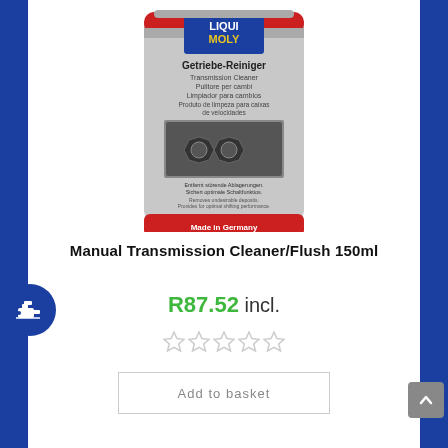[Figure (photo): Liqui Moly Getriebe-Reiniger (Transmission Cleaner) 150ml can product image]
Manual Transmission Cleaner/Flush 150ml
R87.52 incl.
★★★★★ (empty stars rating)
Add to basket